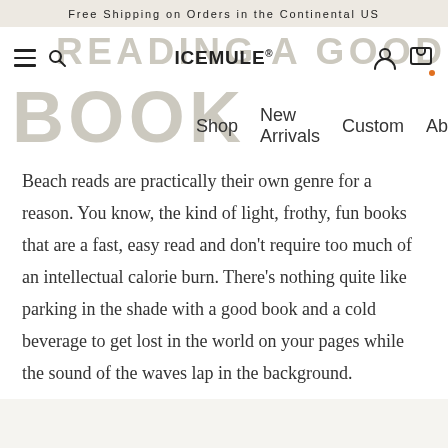Free Shipping on Orders in the Continental US
[Figure (screenshot): IceMule website navigation bar with hamburger menu, search icon, ICEMULE logo centered, user icon and cart icon on the right. Background watermark text reads READING A GOOD BOOK.]
Shop   New Arrivals   Custom   Ab
Beach reads are practically their own genre for a reason. You know, the kind of light, frothy, fun books that are a fast, easy read and don't require too much of an intellectual calorie burn. There's nothing quite like parking in the shade with a good book and a cold beverage to get lost in the world on your pages while the sound of the waves lap in the background.